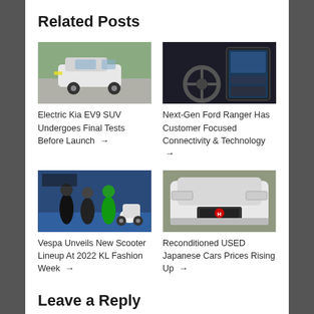Related Posts
[Figure (photo): White electric Kia EV9 SUV driving on a road with green scenery in background]
Electric Kia EV9 SUV Undergoes Final Tests Before Launch →
[Figure (photo): Interior of Next-Gen Ford Ranger showing large touchscreen and steering wheel]
Next-Gen Ford Ranger Has Customer Focused Connectivity & Technology →
[Figure (photo): Vespa scooter display at 2022 KL Fashion Week with people posing]
Vespa Unveils New Scooter Lineup At 2022 KL Fashion Week →
[Figure (photo): White Honda Civic Type R front view on road]
Reconditioned USED Japanese Cars Prices Rising Up →
Leave a Reply